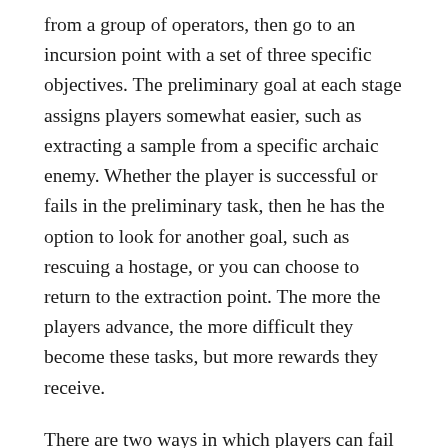from a group of operators, then go to an incursion point with a set of three specific objectives. The preliminary goal at each stage assigns players somewhat easier, such as extracting a sample from a specific archaic enemy. Whether the player is successful or fails in the preliminary task, then he has the option to look for another goal, such as rescuing a hostage, or you can choose to return to the extraction point. The more the players advance, the more difficult they become these tasks, but more rewards they receive.
There are two ways in which players can fail on a mission: o They fail to complete their homework at allied time, or all operators are mine in the field. Operators in Extraction of Rainbow Six No Dying ;